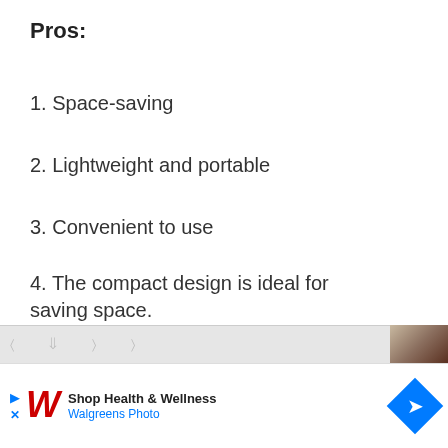Pros:
1. Space-saving
2. Lightweight and portable
3. Convenient to use
4. The compact design is ideal for saving space.
5. Easy to assemble
[Figure (other): Advertisement banner for Walgreens Photo - Shop Health & Wellness]